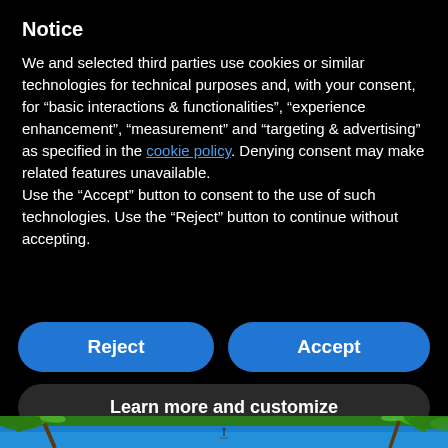Notice
We and selected third parties use cookies or similar technologies for technical purposes and, with your consent, for “basic interactions & functionalities”, “experience enhancement”, “measurement” and “targeting & advertising” as specified in the cookie policy. Denying consent may make related features unavailable.
Use the “Accept” button to consent to the use of such technologies. Use the “Reject” button to continue without accepting.
Reject
Accept
Learn more and customize
[Figure (photo): Tropical beach scene with palm trees and blue ocean water in the background]